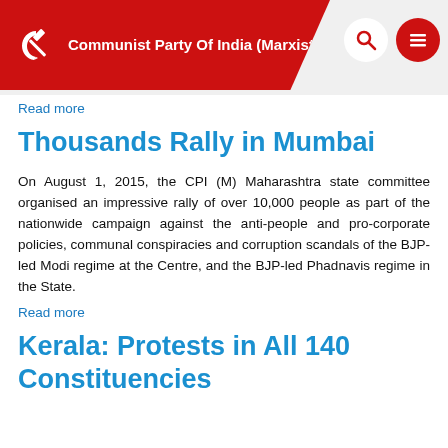Communist Party Of India (Marxist)
Read more
Thousands Rally in Mumbai
On August 1, 2015, the CPI (M) Maharashtra state committee organised an impressive rally of over 10,000 people as part of the nationwide campaign against the anti-people and pro-corporate policies, communal conspiracies and corruption scandals of the BJP-led Modi regime at the Centre, and the BJP-led Phadnavis regime in the State.
Read more
Kerala: Protests in All 140 Constituencies